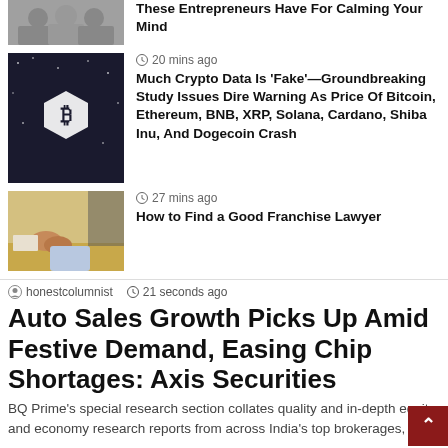These Entrepreneurs Have For Calming Your Mind
20 mins ago
Much Crypto Data Is 'Fake'—Groundbreaking Study Issues Dire Warning As Price Of Bitcoin, Ethereum, BNB, XRP, Solana, Cardano, Shiba Inu, And Dogecoin Crash
27 mins ago
How to Find a Good Franchise Lawyer
honestcolumnist   21 seconds ago
Auto Sales Growth Picks Up Amid Festive Demand, Easing Chip Shortages: Axis Securities
BQ Prime's special research section collates quality and in-depth equity and economy research reports from across India's top brokerages,